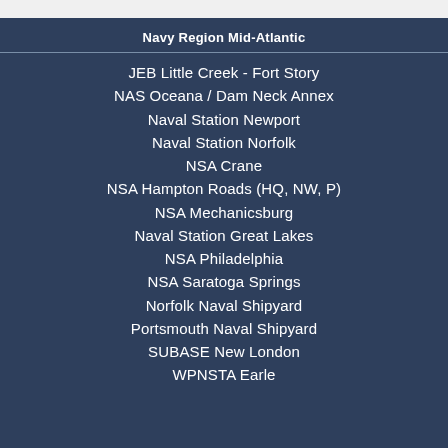Navy Region Mid-Atlantic
JEB Little Creek - Fort Story
NAS Oceana / Dam Neck Annex
Naval Station Newport
Naval Station Norfolk
NSA Crane
NSA Hampton Roads (HQ, NW, P)
NSA Mechanicsburg
Naval Station Great Lakes
NSA Philadelphia
NSA Saratoga Springs
Norfolk Naval Shipyard
Portsmouth Naval Shipyard
SUBASE New London
WPNSTA Earle